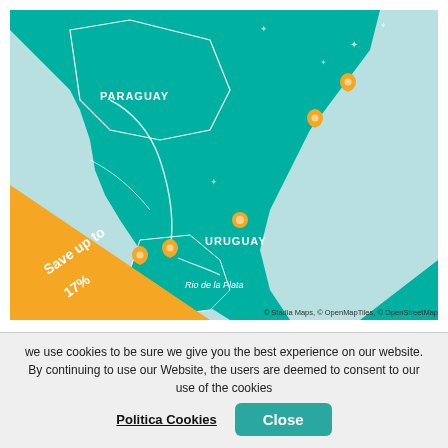[Figure (map): Interactive map showing South America (southern Brazil, Uruguay, Paraguay region) with teal/turquoise land, light teal ocean, orange location pins along the Brazilian coast and Rio de la Plata area, an orange diagonal banner in the lower-left reading 'Save up to 17%', country labels PARAGUAY and URUGUAY, and water label 'Rio de la Plata'. Attribution: © Stadia Maps, © OpenMapTiles, © OpenStreetMap.]
South America
we use cookies to be sure we give you the best experience on our website. By continuing to use our Website, the users are deemed to consent to our use of the cookies
Politica Cookies   Close